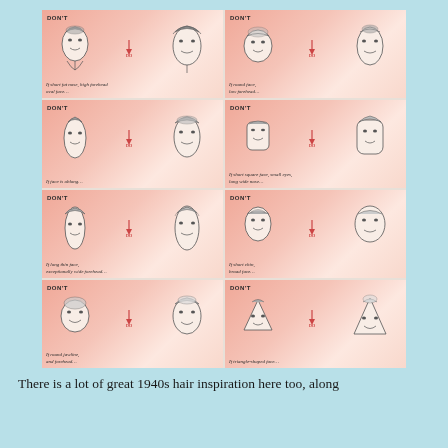[Figure (illustration): A vintage 1940s beauty guide illustration showing 8 panels arranged in a 2x4 grid. Each panel shows two face illustrations — a 'DON'T' hairstyle on the left and a 'DO' hairstyle on the right, connected by an arrow. The panels cover different face types: short fat nose/high forehead/oval face; round face/low forehead; face is oblong; short square face/small eyes/long wide nose; long thin face/exceptionally wide forehead; short chin/broad face; round jawline and forehead; triangle-shaped face. Background is pink/salmon with cream face areas.]
There is a lot of great 1940s hair inspiration here too, along